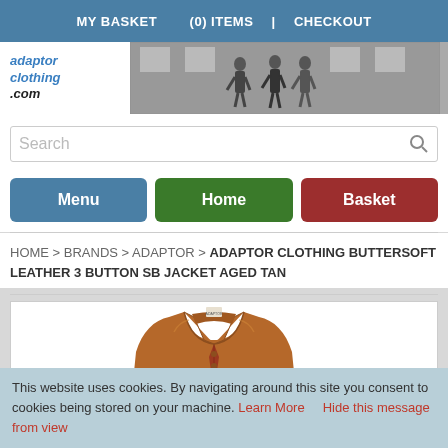MY BASKET   (0) ITEMS   |   CHECKOUT
[Figure (logo): Adaptor Clothing .com logo with banner photo of men walking]
Search
Menu   Home   Basket
HOME > BRANDS > ADAPTOR > ADAPTOR CLOTHING BUTTERSOFT LEATHER 3 BUTTON SB JACKET AGED TAN
[Figure (photo): Tan leather jacket product photo]
This website uses cookies. By navigating around this site you consent to cookies being stored on your machine. Learn More   Hide this message from view